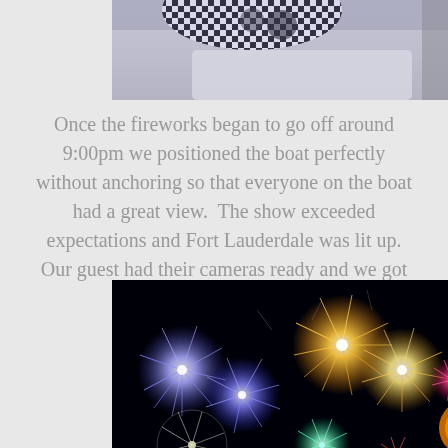[Figure (photo): Partial view of a person on a boat, showing a black and white checkered hat and light-colored fabric/clothing, cropped at the top of the page.]
Once the fireworks began to go off around 9:00pm we positioned the boat perfectly without anchoring so that everyone on the boat had a great view.  The show exceeded expectations and Fort Lauderdale was lit up. Our guest had their cameras ready and we got some great video as well.
[Figure (photo): A photograph of colorful fireworks exploding against a dark night sky, featuring blue, gold, white, and red firework bursts.]